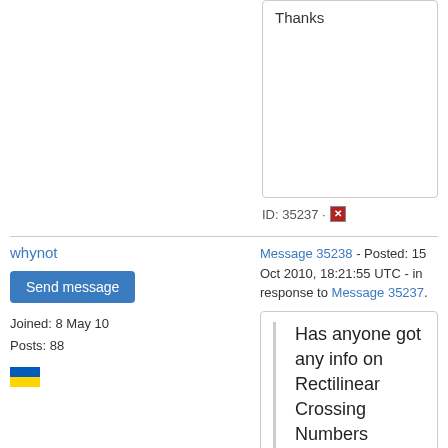Thanks
ID: 35237 · [report icon]
whynot
Send message
Joined: 8 May 10
Posts: 88
[Figure (other): Ukrainian flag emoji]
Message 35238 - Posted: 15 Oct 2010, 18:21:55 UTC - in response to Message 35237.
Has anyone got any info on Rectilinear Crossing Numbers (RCN)?